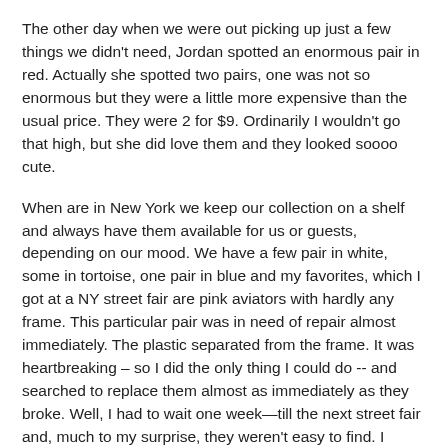The other day when we were out picking up just a few things we didn't need, Jordan spotted an enormous pair in red. Actually she spotted two pairs, one was not so enormous but they were a little more expensive than the usual price. They were 2 for $9. Ordinarily I wouldn't go that high, but she did love them and they looked soooo cute.
When are in New York we keep our collection on a shelf and always have them available for us or guests, depending on our mood. We have a few pair in white, some in tortoise, one pair in blue and my favorites, which I got at a NY street fair are pink aviators with hardly any frame. This particular pair was in need of repair almost immediately. The plastic separated from the frame. It was heartbreaking – so I did the only thing I could do -- and searched to replace them almost as immediately as they broke. Well, I had to wait one week—till the next street fair and, much to my surprise, they weren't easy to find. I walked the entire length of the fair, passing dozens of Italian sausage stands and Pashmina sellers, looked at thousands of glasses and although some were similar, it took another closer look to find the identical glasses. My inability to land the glasses immediately was